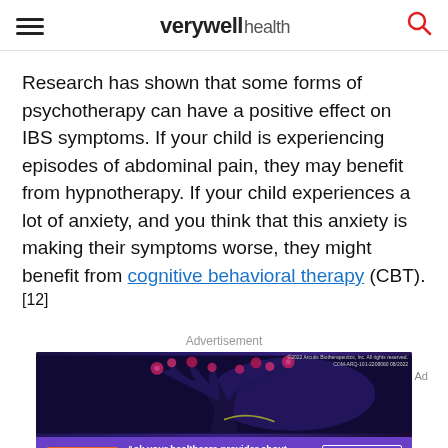verywell health
Research has shown that some forms of psychotherapy can have a positive effect on IBS symptoms. If your child is experiencing episodes of abdominal pain, they may benefit from hypnotherapy. If your child experiences a lot of anxiety, and you think that this anxiety is making their symptoms worse, they might benefit from cognitive behavioral therapy (CBT). [12]
Advertisement
[Figure (illustration): Advertisement banner showing a dark purple illustrated tree with pink/red fungal growths on branches against a dark background. Bottom bar in purple shows 'TOPICAL TIP' orange badge, text 'Ask your healthcare provider about a new topical for plaque psoriasis', and a 'LEARN MORE>' button.]